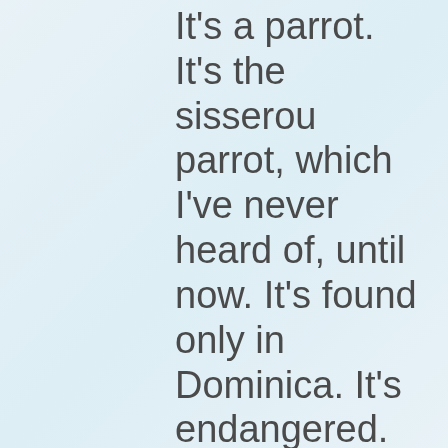It's a parrot. It's the sisserou parrot, which I've never heard of, until now. It's found only in Dominica. It's endangered. There are only 250 individual birds left, which brings to the fore another question about animals on flags. What do